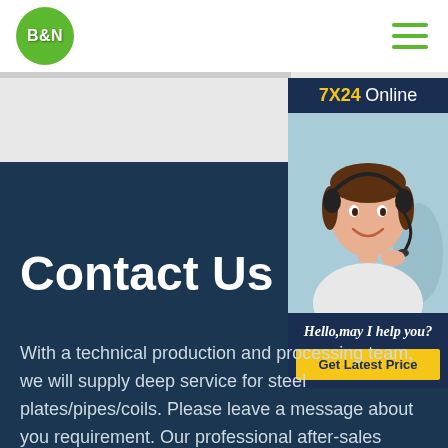B&N
[Figure (logo): B&N logo — green circle with white bold text B&N]
[Figure (infographic): 7X24 Online customer service panel with headset photo, Hello may I help you? text and Get Latest Price button]
Contact Us
With a technical production and processing team, we will supply deep service for steel plates/pipes/coils. Please leave a message about you requirement. Our professional after-sales pernel will response you in 24 hours.